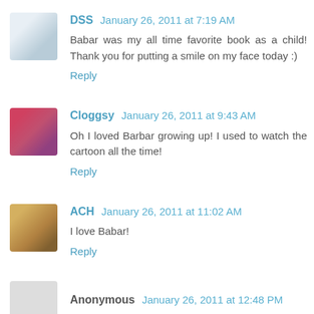DSS January 26, 2011 at 7:19 AM
Babar was my all time favorite book as a child! Thank you for putting a smile on my face today :)
Reply
Cloggsy January 26, 2011 at 9:43 AM
Oh I loved Barbar growing up! I used to watch the cartoon all the time!
Reply
ACH January 26, 2011 at 11:02 AM
I love Babar!
Reply
Anonymous January 26, 2011 at 12:48 PM